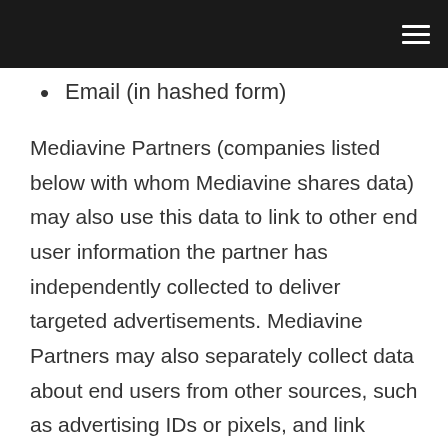Email (in hashed form)
Mediavine Partners (companies listed below with whom Mediavine shares data) may also use this data to link to other end user information the partner has independently collected to deliver targeted advertisements. Mediavine Partners may also separately collect data about end users from other sources, such as advertising IDs or pixels, and link